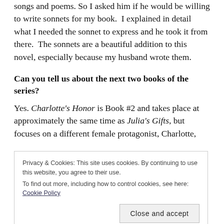songs and poems. So I asked him if he would be willing to write sonnets for my book. I explained in detail what I needed the sonnet to express and he took it from there. The sonnets are a beautiful addition to this novel, especially because my husband wrote them.
Can you tell us about the next two books of the series?
Yes. Charlotte's Honor is Book #2 and takes place at approximately the same time as Julia's Gifts, but focuses on a different female protagonist, Charlotte,
Privacy & Cookies: This site uses cookies. By continuing to use this website, you agree to their use.
To find out more, including how to control cookies, see here: Cookie Policy
Close and accept
basement of the chateau to take care of the